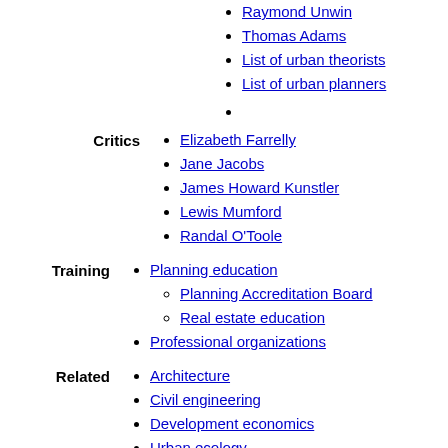Raymond Unwin
Thomas Adams
List of urban theorists
List of urban planners
Elizabeth Farrelly
Jane Jacobs
James Howard Kunstler
Lewis Mumford
Randal O'Toole
Planning education
Planning Accreditation Board
Real estate education
Professional organizations
Architecture
Civil engineering
Development economics
Urban ecology
Urban economics
Geography
Land development